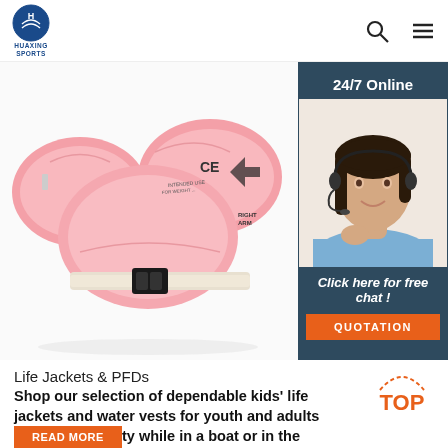HUAXING SPORTS
[Figure (photo): Pink inflatable kids arm floaties / swim vest life jacket with buckle strap, product photo on white background]
[Figure (infographic): 24/7 Online chat widget with female customer service agent wearing headset. Text: '24/7 Online', 'Click here for free chat!', button 'QUOTATION']
Life Jackets & PFDs
Shop our selection of dependable kids' life jackets and water vests for youth and adults for optimal safety while in a boat or in the water. Get it online at Canadian Tire, pick up at ...